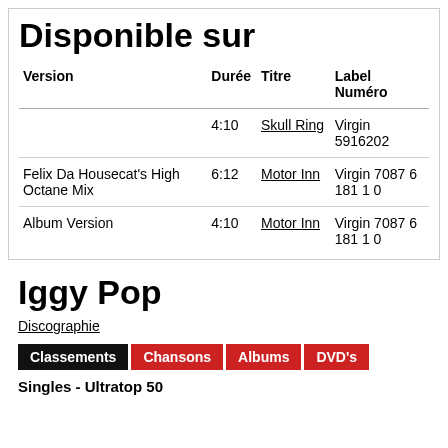Disponible sur
| Version | Durée | Titre | Label Numéro |
| --- | --- | --- | --- |
|  | 4:10 | Skull Ring | Virgin 5916202 |
| Felix Da Housecat's High Octane Mix | 6:12 | Motor Inn | Virgin 7087 6 181 1 0 |
| Album Version | 4:10 | Motor Inn | Virgin 7087 6 181 1 0 |
Iggy Pop
Discographie
Classements  Chansons  Albums  DVD's
Singles - Ultratop 50